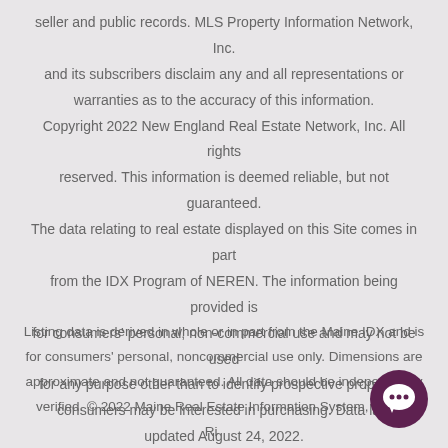seller and public records. MLS Property Information Network, Inc. and its subscribers disclaim any and all representations or warranties as to the accuracy of this information. Copyright 2022 New England Real Estate Network, Inc. All rights reserved. This information is deemed reliable, but not guaranteed. The data relating to real estate displayed on this Site comes in part from the IDX Program of NEREN. The information being provided is for consumers' personal, non-commercial use and may not be used for any purpose other than to identify prospective properties consumers may be interested in purchasing. Data last updated August 24, 2022.
Listing data is derived in whole or in part from the Maine IDX and is for consumers' personal, noncommercial use only. Dimensions are approximate and not guaranteed. All data should be independently verified. © 2022 Maine Real Estate Information System, Inc. All Rights Reserved